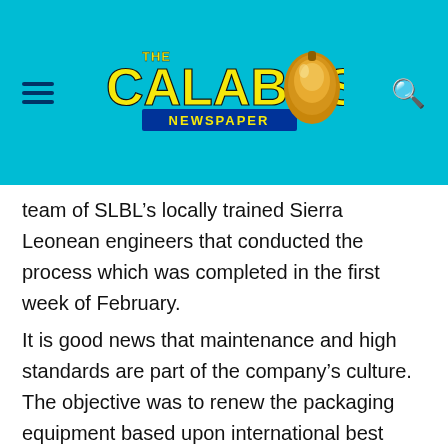[Figure (logo): The Calabash Newspaper logo with yellow bold text on cyan/blue background, with a calabash gourd graphic on the right side]
team of SLBL's locally trained Sierra Leonean engineers that conducted the process which was completed in the first week of February.
It is good news that maintenance and high standards are part of the company's culture. The objective was to renew the packaging equipment based upon international best practice and manufacturing excellence principles. With this, the upgraded bottling line is now more efficient and capable of producing more products with the same high international standards now and in the upcoming years which the company's revered consumers will continue to be proud of.
The company's canning line is functioning effectively and subscribers are gradually getting used to the drinks it is